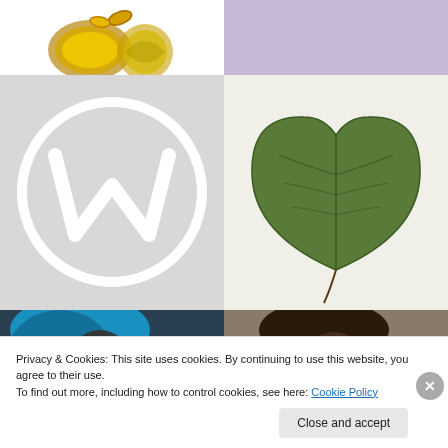[Figure (photo): Gold ornament and decorative globe/coin on white background, top-left cell]
[Figure (illustration): Solid lavender/light purple rectangular block, top-right cell]
[Figure (logo): WordPress logo - white W in circle on light grey background, middle-left cell]
[Figure (photo): Heart-shaped green leaf with visible veins and stem on white background, middle-right cell]
[Figure (photo): Close-up of person with teal/blue hair, partially shown, bottom-left cell]
[Figure (photo): Close-up of person with dark hair and red item, partially shown, bottom-right cell]
Privacy & Cookies: This site uses cookies. By continuing to use this website, you agree to their use.
To find out more, including how to control cookies, see here: Cookie Policy
Close and accept